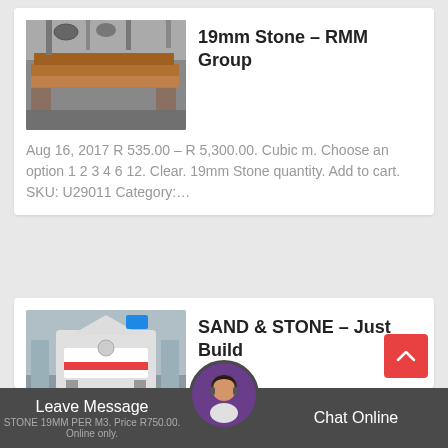[Figure (photo): Photo of industrial metal flat plates/slabs stacked in a factory setting]
19mm Stone - RMM Group
Aug 16, 2017 R 535.00 – R 5,300.00. Cubic m. Choose an option 1 2 3 4 6 12. Clear. 19mm Stone quantity. Add to cart. SKU: U29011 Category:…
[Figure (photo): Photo of an industrial stone crusher machine in a warehouse]
SAND & STONE – Just Build
Leave Message
STONE 19MM PER M3. Price R750.00. Online only.
Chat Online